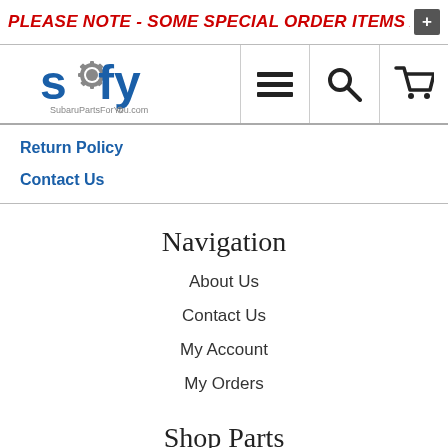PLEASE NOTE - SOME SPECIAL ORDER ITEMS ARE DE
[Figure (logo): Spfy / SubaruPartsForYou.com logo with gear icon]
Return Policy
Contact Us
Navigation
About Us
Contact Us
My Account
My Orders
Shop Parts